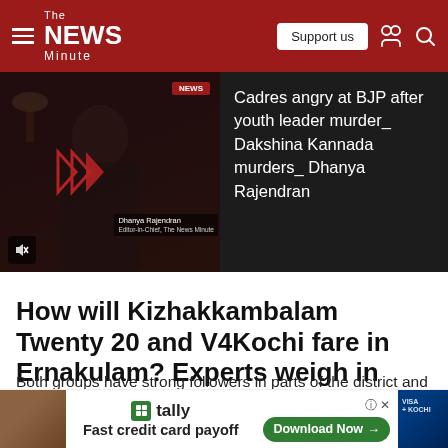The NEWS Minute
[Figure (screenshot): Video thumbnail showing Dhanya Rajendran with play button arrows overlay]
Cadres angry at BJP after youth leader murder_ Dakshina Kannada murders_ Dhanya Rajendran
How will Kizhakkambalam Twenty 20 and V4Kochi fare in Ernakulam? Experts weigh in
Both groups have strong followers in parts of the district and it will be crucial to see how the outfits will fare in the election.
[Figure (screenshot): Tally advertisement banner - Fast credit card payoff with Download Now button]